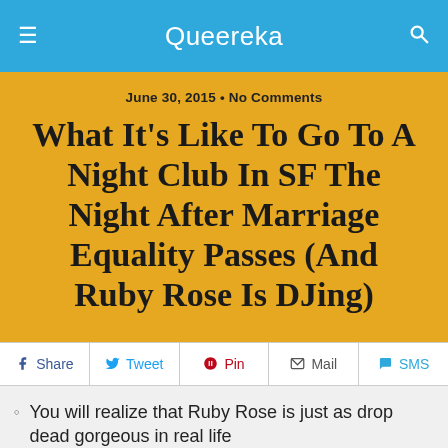Queereka
June 30, 2015 • No Comments
What It's Like To Go To A Night Club In SF The Night After Marriage Equality Passes (And Ruby Rose Is DJing)
Share | Tweet | Pin | Mail | SMS
You will realize that Ruby Rose is just as drop dead gorgeous in real life
After careful observation you conclude that it was her cheekbones that cut heternormativity